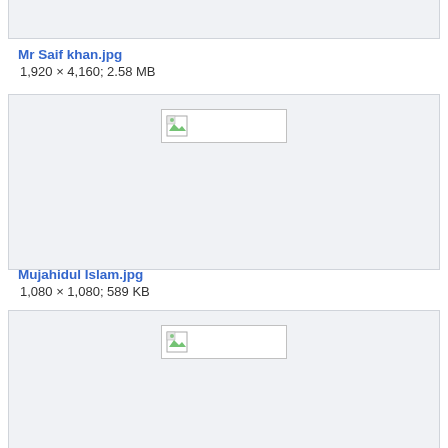[Figure (other): Broken image placeholder box at top of page (cropped)]
Mr Saif khan.jpg
1,920 × 4,160; 2.58 MB
[Figure (other): Broken image placeholder box for Mr Saif khan.jpg]
Mujahidul Islam.jpg
1,080 × 1,080; 589 KB
[Figure (other): Broken image placeholder box for Mujahidul Islam.jpg (cropped at bottom)]